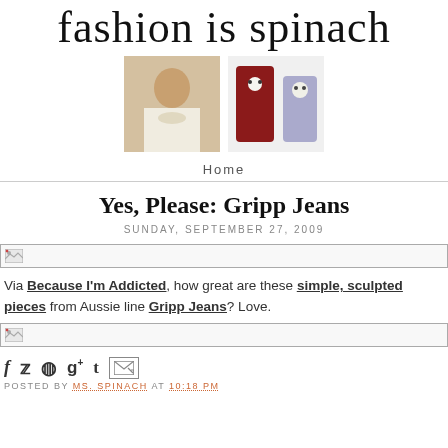fashion is spinach
[Figure (photo): Two header images: a woman in white top with necklace, and two handmade dolls]
Home
Yes, Please: Gripp Jeans
SUNDAY, SEPTEMBER 27, 2009
[Figure (photo): Broken image placeholder bar]
Via Because I'm Addicted, how great are these simple, sculpted pieces from Aussie line Gripp Jeans? Love.
[Figure (photo): Broken image placeholder bar]
Social icons: f (Facebook), bird (Twitter), Pinterest, G+, Tumblr, email forward
POSTED BY MS. SPINACH AT 10:18 PM